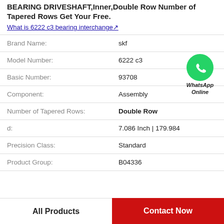BEARING DRIVESHAFT,Inner,Double Row Number of Tapered Rows Get Your Free.
What is 6222 c3 bearing interchange↗
| Field | Value |
| --- | --- |
| Brand Name: | skf |
| Model Number: | 6222 c3 |
| Basic Number: | 93708 |
| Component: | Assembly |
| Number of Tapered Rows: | Double Row |
| d: | 7.086 Inch | 179.984 |
| Precision Class: | Standard |
| Product Group: | B04336 |